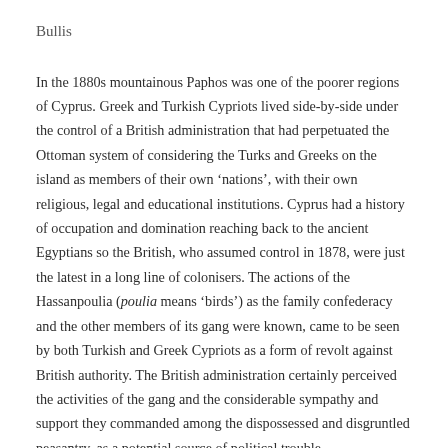Bullis
In the 1880s mountainous Paphos was one of the poorer regions of Cyprus. Greek and Turkish Cypriots lived side-by-side under the control of a British administration that had perpetuated the Ottoman system of considering the Turks and Greeks on the island as members of their own ‘nations’, with their own religious, legal and educational institutions. Cyprus had a history of occupation and domination reaching back to the ancient Egyptians so the British, who assumed control in 1878, were just the latest in a long line of colonisers. The actions of the Hassanpoulia (poulia means ‘birds’) as the family confederacy and the other members of its gang were known, came to be seen by both Turkish and Greek Cypriots as a form of revolt against British authority. The British administration certainly perceived the activities of the gang and the considerable sympathy and support they commanded among the dispossessed and disgruntled peasantry, as a potential source of political trouble.
But within a decade of the deaths of the Bullis two distinctly different traditions developed. The Turkish Cypriot tradition continued to present